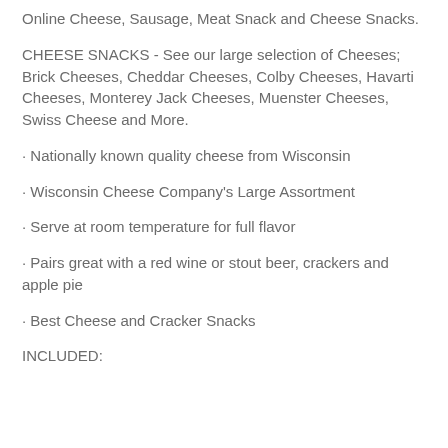Online Cheese, Sausage, Meat Snack and Cheese Snacks.
CHEESE SNACKS - See our large selection of Cheeses; Brick Cheeses, Cheddar Cheeses, Colby Cheeses, Havarti Cheeses, Monterey Jack Cheeses, Muenster Cheeses, Swiss Cheese and More.
· Nationally known quality cheese from Wisconsin
· Wisconsin Cheese Company's Large Assortment
· Serve at room temperature for full flavor
· Pairs great with a red wine or stout beer, crackers and apple pie
· Best Cheese and Cracker Snacks
INCLUDED: